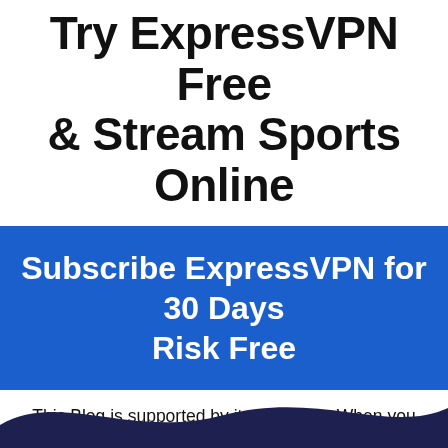Try ExpressVPN Free & Stream Sports Online
[Figure (other): Blue banner button with text 'Subscribe ExpressVPN for 30 Days Risk Free']
This Blog is supported by its audience. When you purchase through links on our site, we may earn an affiliate commission.
[Figure (illustration): Dark navy wave/footer shape at the bottom of the page]